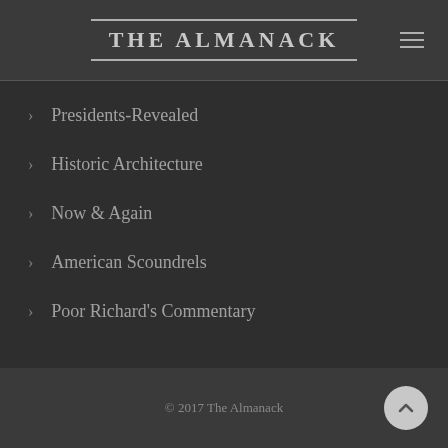THE ALMANACK
Presidents-Revealed
Historic Architecture
Now & Again
American Scoundrels
Poor Richard's Commentary
© 2017 The Almanack